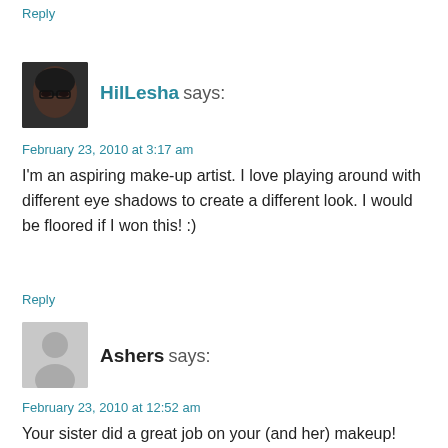Reply
[Figure (photo): Avatar photo of HilLesha — close-up face with dark hair and glasses]
HilLesha says:
February 23, 2010 at 3:17 am
I'm an aspiring make-up artist. I love playing around with different eye shadows to create a different look. I would be floored if I won this! :)
Reply
[Figure (illustration): Generic anonymous avatar — gray silhouette of a person on gray background]
Ashers says:
February 23, 2010 at 12:52 am
Your sister did a great job on your (and her) makeup!